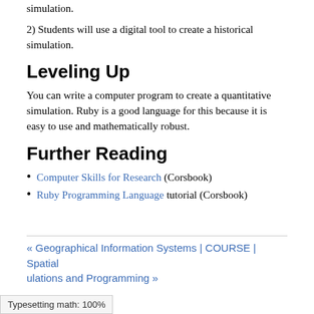simulation.
2) Students will use a digital tool to create a historical simulation.
Leveling Up
You can write a computer program to create a quantitative simulation. Ruby is a good language for this because it is easy to use and mathematically robust.
Further Reading
Computer Skills for Research (Corsbook)
Ruby Programming Language tutorial (Corsbook)
« Geographical Information Systems | COURSE | Spatial ... ulations and Programming »